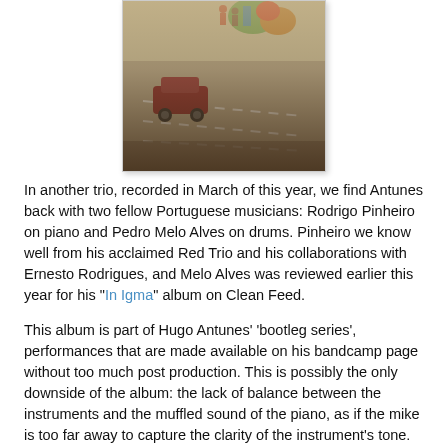[Figure (illustration): Album artwork showing a desert scene with a car on a road, figures, and colorful graffiti-style elements in the upper portion]
In another trio, recorded in March of this year, we find Antunes back with two fellow Portuguese musicians: Rodrigo Pinheiro on piano and Pedro Melo Alves on drums. Pinheiro we know well from his acclaimed Red Trio and his collaborations with Ernesto Rodrigues, and Melo Alves was reviewed earlier this year for his "In Igma" album on Clean Feed.
This album is part of Hugo Antunes' 'bootleg series', performances that are made available on his bandcamp page without too much post production. This is possibly the only downside of the album: the lack of balance between the instruments and the muffled sound of the piano, as if the mike is too far away to capture the clarity of the instrument's tone. One star less in the rating.